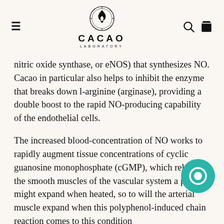CACAO LABORATORY
nitric oxide synthase, or eNOS) that synthesizes NO. Cacao in particular also helps to inhibit the enzyme that breaks down l-arginine (arginase), providing a double boost to the rapid NO-producing capability of the endothelial cells.
The increased blood-concentration of NO works to rapidly augment tissue concentrations of cyclic guanosine monophosphate (cGMP), which relaxes the smooth muscles of the vascular system a pipe might expand when heated, so to will the arterial muscle expand when this polyphenol-induced chain reaction comes to this condition